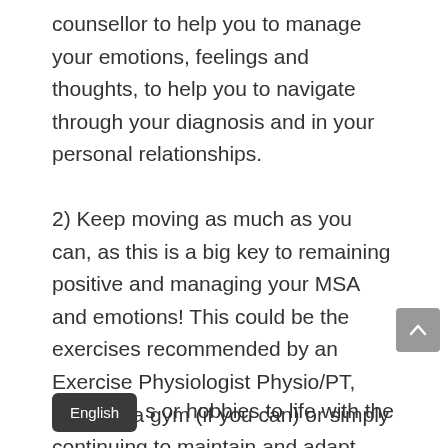counsellor to help you to manage your emotions, feelings and thoughts, to help you to navigate through your diagnosis and in your personal relationships.

2) Keep moving as much as you can, as this is a big key to remaining positive and managing your MSA and emotions! This could be the exercises recommended by an Exercise Physiologist Physio/PT, going to a gym (if you can) or simply continuing to maintain and adapt your everyday activities or hobbies to life with the